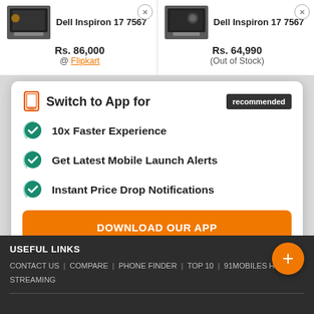Dell Inspiron 17 7567
Rs. 86,000 @ Flipkart
Dell Inspiron 17 7567
Rs. 64,990 (Out of Stock)
Switch to App for
recommended
10x Faster Experience
Get Latest Mobile Launch Alerts
Instant Price Drop Notifications
DOWNLOAD OUR APP
USEFUL LINKS
CONTACT US | COMPARE | PHONE FINDER | TOP 10 | 91MOBILES HINDI | STREAMING